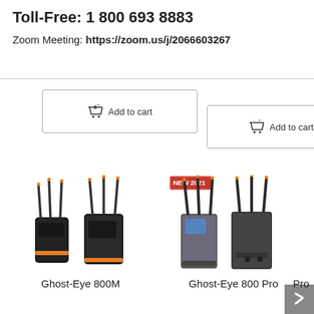Toll-Free: 1 800 693 8883
Zoom Meeting: https://zoom.us/j/2066603267
[Figure (screenshot): Add to cart button (left) - shopping cart icon with 'Add to cart' text, bordered rectangle]
[Figure (screenshot): Add to cart button (right) - shopping cart icon with 'Add to cart' text, bordered rectangle]
[Figure (photo): Ghost-Eye 800M wireless video transmitter/receiver product photo showing two black devices with multiple orange-tipped antennas]
Ghost-Eye 800M
[Figure (photo): Ghost-Eye 800 Pro wireless video transmitter/receiver product photo showing two grey/black devices with multiple orange-tipped antennas and a NEW 2021 badge]
Ghost-Eye 800 Pro